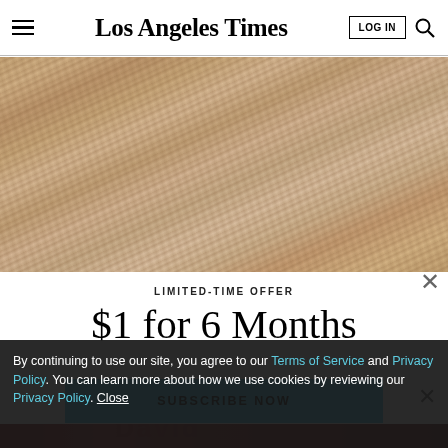Los Angeles Times
[Figure (photo): Close-up photograph of elderly person's face/ear showing wrinkled skin texture]
LIMITED-TIME OFFER
$1 for 6 Months
SUBSCRIBE NOW
By continuing to use our site, you agree to our Terms of Service and Privacy Policy. You can learn more about how we use cookies by reviewing our Privacy Policy. Close